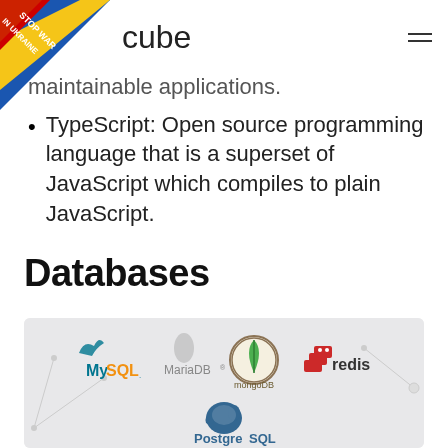cube
maintainable applications.
TypeScript: Open source programming language that is a superset of JavaScript which compiles to plain JavaScript.
Databases
[Figure (illustration): Logos of database technologies: MySQL, MariaDB, mongoDB, redis, PostgreSQL on a light gray background with network diagram lines]